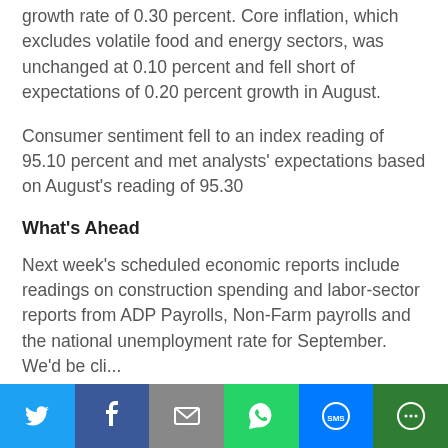growth rate of 0.30 percent. Core inflation, which excludes volatile food and energy sectors, was unchanged at 0.10 percent and fell short of expectations of 0.20 percent growth in August.
Consumer sentiment fell to an index reading of 95.10 percent and met analysts' expectations based on August's reading of 95.30
What's Ahead
Next week's scheduled economic reports include readings on construction spending and labor-sector reports from ADP Payrolls, Non-Farm payrolls and the national unemployment rate for September. We'd be cli...
[Figure (infographic): Social media sharing bar with Twitter, Facebook, Email, WhatsApp, SMS, and other share buttons]